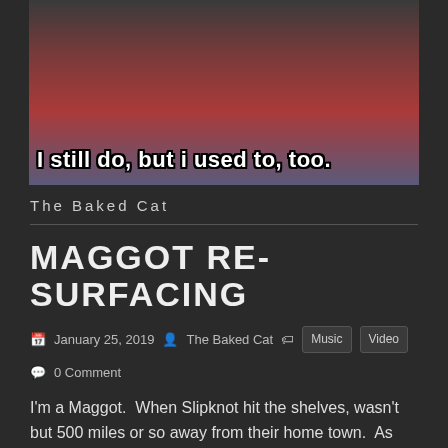[Figure (photo): Meme image showing a person in a red and black jacket holding a microphone. Text overlay reads: I still do, but i used to, too.]
The Baked Cat
MAGGOT RE-SURFACING
January 25, 2019  The Baked Cat  Music  Video  0 Comment
I'm a Maggot.  When Slipknot hit the shelves, wasn't but 500 miles or so away from their home town.  As kids, my friends and I, would blast our car stereos with "Surfacing" cranked at full volume.  We'd scare the hell out of old folks and others, not prepared for the throat